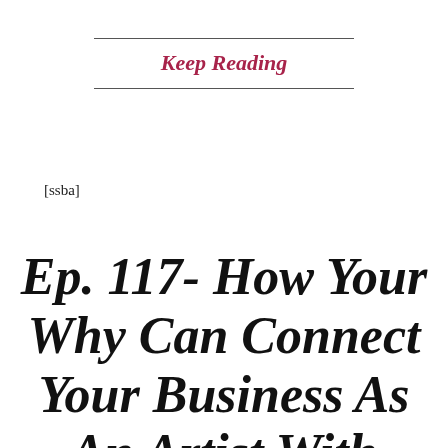Keep Reading
[ssba]
Ep. 117- How Your Why Can Connect Your Business As An Artist With Those